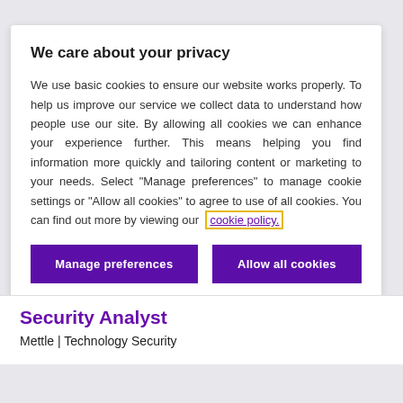We care about your privacy
We use basic cookies to ensure our website works properly. To help us improve our service we collect data to understand how people use our site. By allowing all cookies we can enhance your experience further. This means helping you find information more quickly and tailoring content or marketing to your needs. Select "Manage preferences" to manage cookie settings or "Allow all cookies" to agree to use of all cookies. You can find out more by viewing our cookie policy.
Manage preferences | Allow all cookies
Security Analyst
Mettle | Technology Security